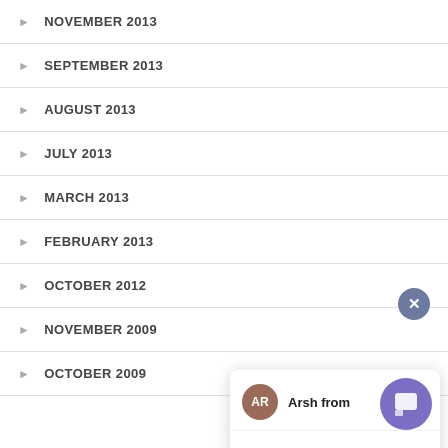NOVEMBER 2013
SEPTEMBER 2013
AUGUST 2013
JULY 2013
MARCH 2013
FEBRUARY 2013
OCTOBER 2012
NOVEMBER 2009
OCTOBER 2009
[Figure (screenshot): Chat popup widget with agent avatar 'AR' (Arsh from), message 'Hi, How can I help you?', and a message input area with placeholder 'Type your message' and a send arrow button. A close (X) button appears at top right, and a purple chat launcher button at bottom right.]